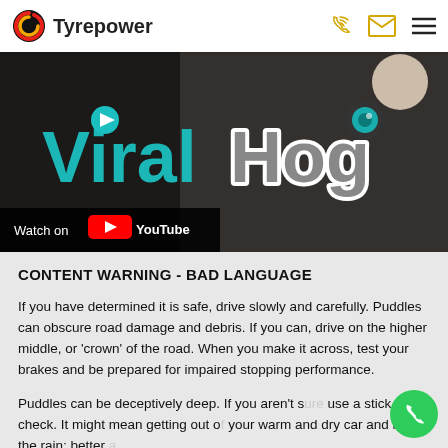Tyrepower
[Figure (screenshot): ViralHog YouTube video thumbnail showing the ViralHog logo with teal 'Viral' and grey 'Hog' text, with a 'Watch on YouTube' overlay bar at the bottom left.]
CONTENT WARNING - BAD LANGUAGE
If you have determined it is safe, drive slowly and carefully. Puddles can obscure road damage and debris. If you can, drive on the higher middle, or ‘crown’ of the road. When you make it across, test your brakes and be prepared for impaired stopping performance.
Puddles can be deceptively deep. If you aren’t sure use a stick to check. It might mean getting out of your warm and dry car and into the rain; better